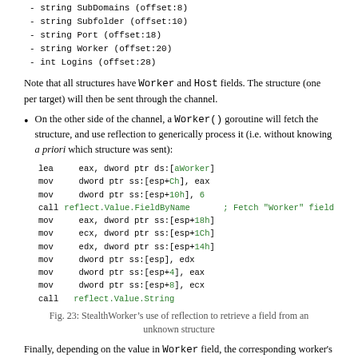- string SubDomains (offset:8)
- string Subfolder (offset:10)
- string Port (offset:18)
- string Worker (offset:20)
- int Logins (offset:28)
Note that all structures have Worker and Host fields. The structure (one per target) will then be sent through the channel.
On the other side of the channel, a Worker() goroutine will fetch the structure, and use reflection to generically process it (i.e. without knowing a priori which structure was sent):
[Figure (screenshot): Assembly code block showing StealthWorker's use of reflection: lea eax dword ptr ds:[aWorker], mov dword ptr ss:[esp+Ch] eax, mov dword ptr ss:[esp+10h] 6, call reflect.Value.FieldByName ; Fetch Worker field, mov eax dword ptr ss:[esp+18h], mov ecx dword ptr ss:[esp+1Ch], mov edx dword ptr ss:[esp+14h], mov dword ptr ss:[esp] edx, mov dword ptr ss:[esp+4] eax, mov dword ptr ss:[esp+8] ecx, call reflect.Value.String]
Fig. 23: StealthWorker’s use of reflection to retrieve a field from an unknown structure
Finally, depending on the value in Worker field, the corresponding worker's code will be executed. There are two types of workers: brute-